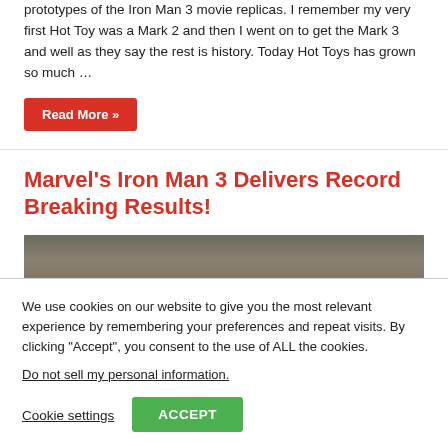prototypes of the Iron Man 3 movie replicas. I remember my very first Hot Toy was a Mark 2 and then I went on to get the Mark 3 and well as they say the rest is history. Today Hot Toys has grown so much …
Read More »
Marvel's Iron Man 3 Delivers Record Breaking Results!
[Figure (photo): Dark photograph showing what appears to be a wall or surface, likely related to Iron Man 3 article]
We use cookies on our website to give you the most relevant experience by remembering your preferences and repeat visits. By clicking "Accept", you consent to the use of ALL the cookies.
Do not sell my personal information.
Cookie settings
ACCEPT